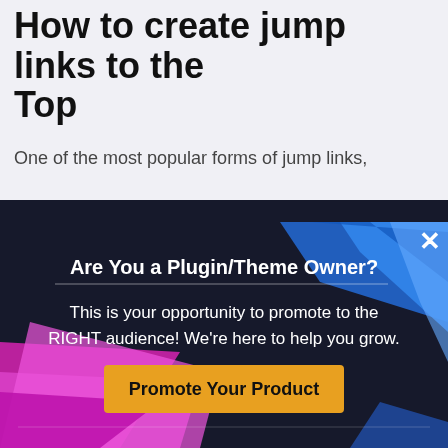How to create jump links to the Top
One of the most popular forms of jump links,
[Figure (screenshot): Dark modal popup overlay with geometric blue shapes top-right and magenta shapes bottom-left. Contains heading 'Are You a Plugin/Theme Owner?', body text about promoting to the right audience, an orange CTA button 'Promote Your Product', and a close X button.]
Are You a Plugin/Theme Owner?
This is your opportunity to promote to the RIGHT audience! We're here to help you grow.
Promote Your Product